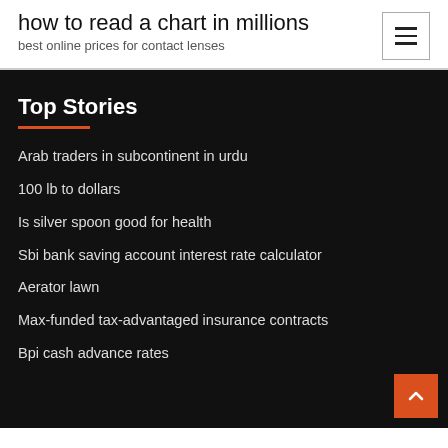how to read a chart in millions
best online prices for contact lenses
Top Stories
Arab traders in subcontinent in urdu
100 lb to dollars
Is silver spoon good for health
Sbi bank saving account interest rate calculator
Aerator lawn
Max-funded tax-advantaged insurance contracts
Bpi cash advance rates